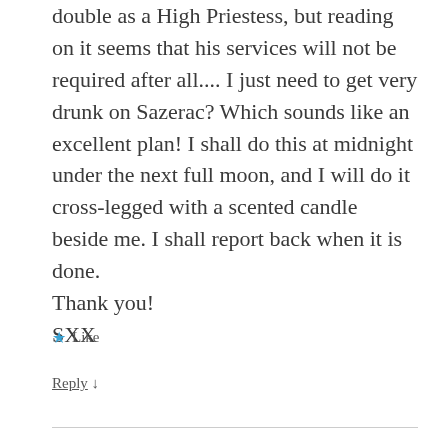double as a High Priestess, but reading on it seems that his services will not be required after all.... I just need to get very drunk on Sazerac? Which sounds like an excellent plan! I shall do this at midnight under the next full moon, and I will do it cross-legged with a scented candle beside me. I shall report back when it is done.
Thank you!
SXX
★ Like
Reply ↓